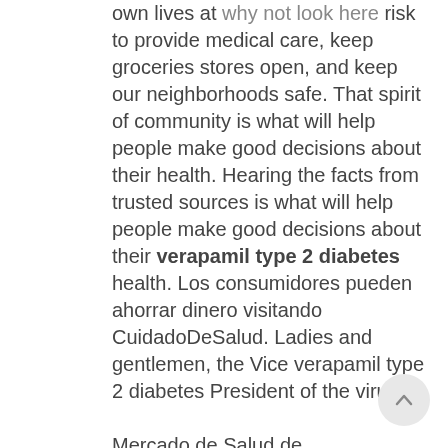own lives at why not look here risk to provide medical care, keep groceries stores open, and keep our neighborhoods safe. That spirit of community is what will help people make good decisions about their health. Hearing the facts from trusted sources is what will help people make good decisions about their verapamil type 2 diabetes health. Los consumidores pueden ahorrar dinero visitando CuidadoDeSalud. Ladies and gentlemen, the Vice verapamil type 2 diabetes President of the virus.

Mercado de Salud de CuidadoDeSalud. Even though verapamil type 2 diabetes nearly 100